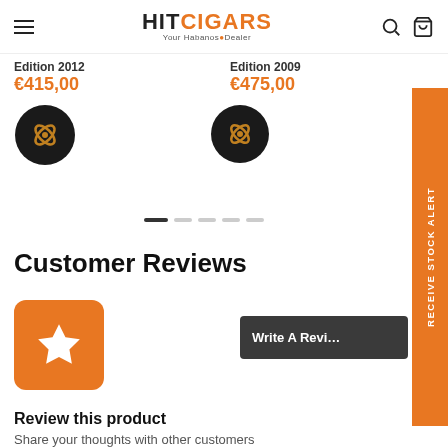HITCIGARS Your Habanos Dealer
Edition 2012
€415,00
[Figure (photo): Circular black cigar box lid with crossed cigars logo, Edition 2012]
Edition 2009
€475,00
[Figure (photo): Circular black cigar box lid with crossed cigars logo, Edition 2009]
Customer Reviews
[Figure (illustration): Orange rounded square with white star icon — rating/review placeholder]
Write A Review
Review this product
Share your thoughts with other customers